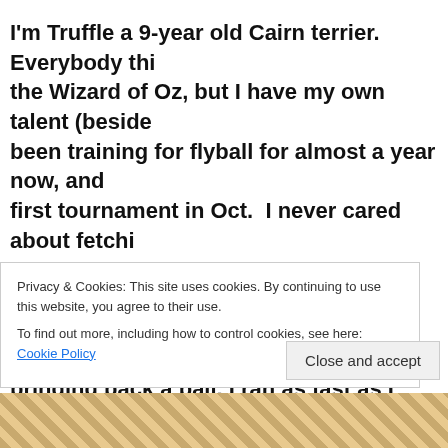I'm Truffle a 9-year old Cairn terrier.  Everybody thi the Wizard of Oz, but I have my own talent (beside been training for flyball for almost a year now, and first tournament in Oct.  I never cared about fetchi with toys (except when I was a puppy, I liked to ch stuffed animal body parts).  But when I realized I g bringing back a ball, I ran as fast as I could!  I'd be about 9 months when my mom met Brian & Joann how much I liked to run the agility course and how anything for treats, so we gave flyball a try.  The fi
Privacy & Cookies: This site uses cookies. By continuing to use this website, you agree to their use.
To find out more, including how to control cookies, see here: Cookie Policy
Close and accept
[Figure (photo): Bottom strip showing a woven/textile pattern in tan and brown colors, partially visible at the bottom of the page.]